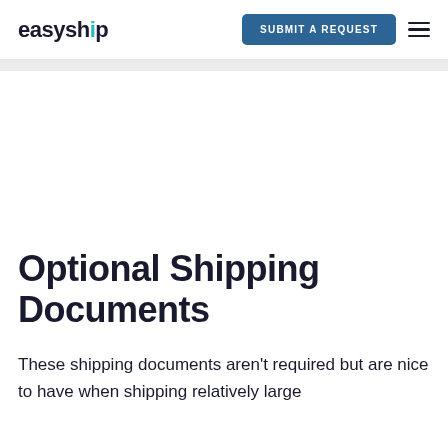easyship  SUBMIT A REQUEST
Optional Shipping Documents
These shipping documents aren't required but are nice to have when shipping relatively large